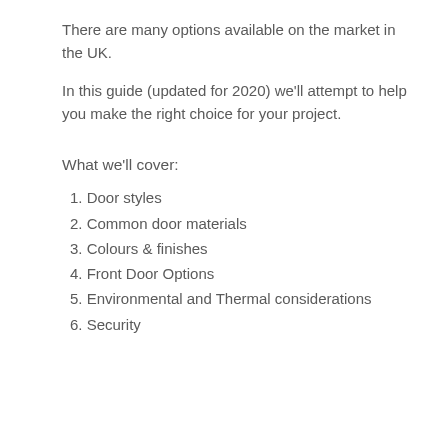There are many options available on the market in the UK.
In this guide (updated for 2020) we'll attempt to help you make the right choice for your project.
What we'll cover:
1. Door styles
2. Common door materials
3. Colours & finishes
4. Front Door Options
5. Environmental and Thermal considerations
6. Security